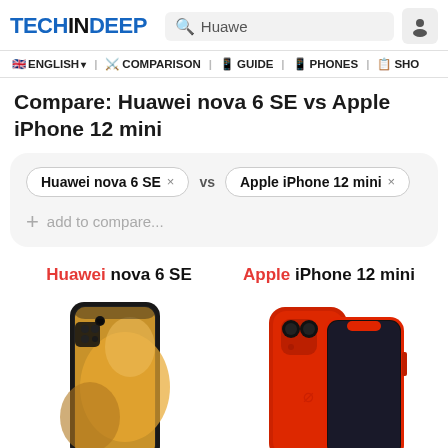TECHINDEEP - Search: Huawe
ENGLISH | COMPARISON | GUIDE | PHONES | SHO
Compare: Huawei nova 6 SE vs Apple iPhone 12 mini
Huawei nova 6 SE × vs Apple iPhone 12 mini × + add to compare...
Huawei nova 6 SE | Apple iPhone 12 mini
[Figure (photo): Huawei nova 6 SE black smartphone — front view showing punch-hole camera and golden wallpaper, and rear view showing quad camera module]
[Figure (photo): Apple iPhone 12 mini red (PRODUCT RED) smartphone — front and rear view showing dual camera system]